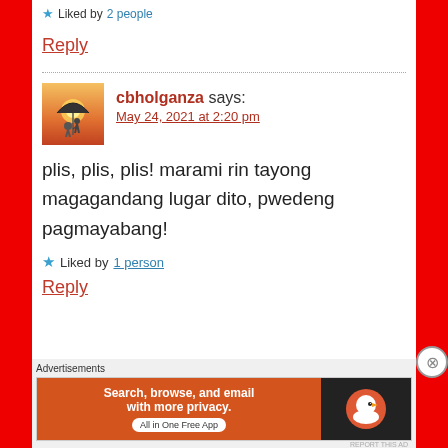★ Liked by 2 people
Reply
cbholganza says:
May 24, 2021 at 2:20 pm
plis, plis, plis! marami rin tayong magagandang lugar dito, pwedeng pagmayabang!
★ Liked by 1 person
Reply
[Figure (screenshot): DuckDuckGo advertisement banner: 'Search, browse, and email with more privacy. All in One Free App' on orange background with DuckDuckGo logo on dark background]
Advertisements